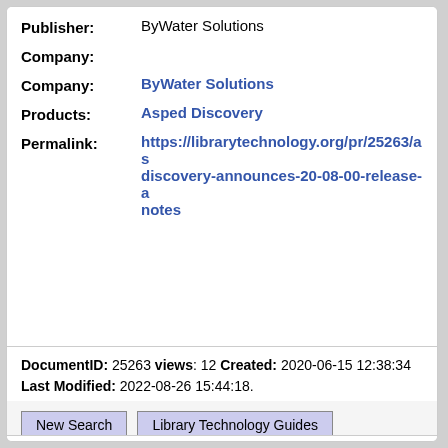Publisher: ByWater Solutions
Company:
Company: ByWater Solutions
Products: Asped Discovery
Permalink: https://librarytechnology.org/pr/25263/asped-discovery-announces-20-08-00-release-announcement-notes
DocumentID: 25263 views: 12 Created: 2020-06-15 12:38:34 Last Modified: 2022-08-26 15:44:18.
New Search | Library Technology Guides
Maintained by Marshall Breeding